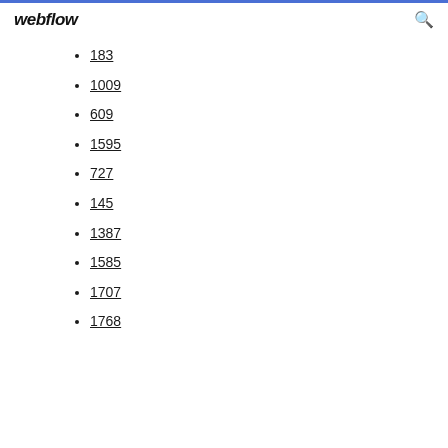webflow
183
1009
609
1595
727
145
1387
1585
1707
1768